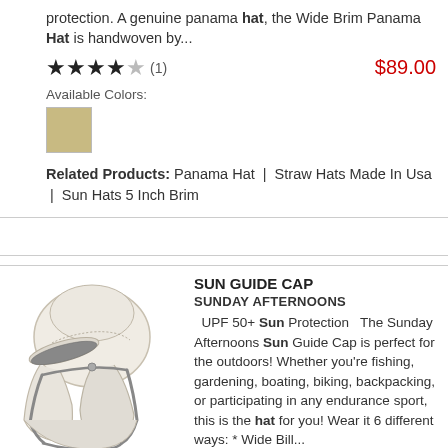protection. A genuine panama hat, the Wide Brim Panama Hat is handwoven by...
★★★★☆ (1) $89.00
Available Colors:
[Figure (other): Tan/khaki color swatch]
Related Products: Panama Hat | Straw Hats Made In Usa | Sun Hats 5 Inch Brim
[Figure (photo): Sun Guide Cap - white cap with neck flap and chin strap, shown with flaps down]
SUN GUIDE CAP
SUNDAY AFTERNOONS
UPF 50+ Sun Protection  The Sunday Afternoons Sun Guide Cap is perfect for the outdoors! Whether you're fishing, gardening, boating, biking, backpacking, or participating in any endurance sport, this is the hat for you! Wear it 6 different ways: * Wide Bill...
★★★★☆ (5)